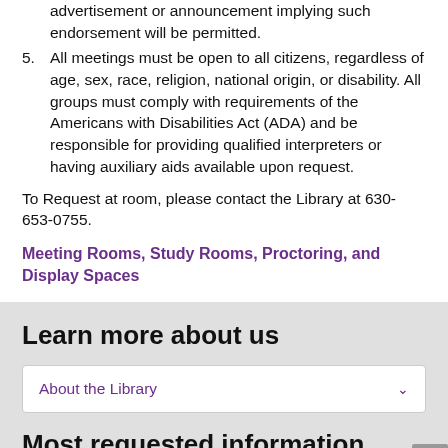advertisement or announcement implying such endorsement will be permitted.
5. All meetings must be open to all citizens, regardless of age, sex, race, religion, national origin, or disability. All groups must comply with requirements of the Americans with Disabilities Act (ADA) and be responsible for providing qualified interpreters or having auxiliary aids available upon request.
To Request at room, please contact the Library at 630-653-0755.
Meeting Rooms, Study Rooms, Proctoring, and Display Spaces
Learn more about us
About the Library
Most requested information